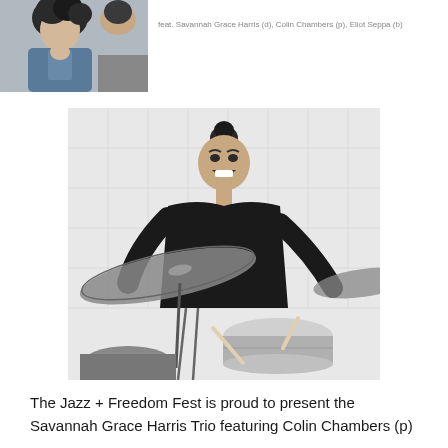[Figure (photo): Black and white photo of a person (top of page, partially cropped)]
feat. Savannah Grace Harris (d), Colin Chambers (p), Eliot Seppa (b)
[Figure (photo): Black and white photo of a smiling woman playing drums in a room with tiled walls]
The Jazz + Freedom Fest is proud to present the Savannah Grace Harris Trio featuring Colin Chambers (p)